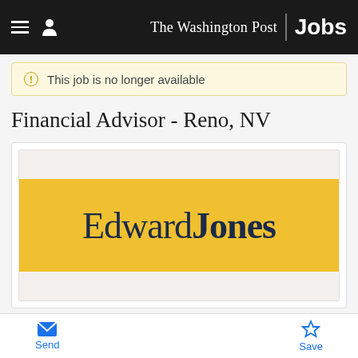The Washington Post Jobs
This job is no longer available
Financial Advisor - Reno, NV
[Figure (logo): Edward Jones company logo — bold serif text 'Edward Jones' in dark navy on a golden yellow background]
Send  Save